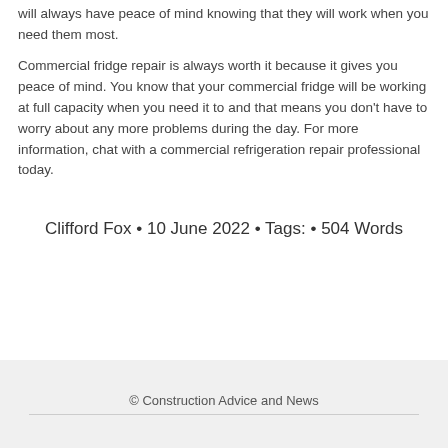will always have peace of mind knowing that they will work when you need them most.
Commercial fridge repair is always worth it because it gives you peace of mind. You know that your commercial fridge will be working at full capacity when you need it to and that means you don't have to worry about any more problems during the day. For more information, chat with a commercial refrigeration repair professional today.
Clifford Fox • 10 June 2022 • Tags: • 504 Words
© Construction Advice and News